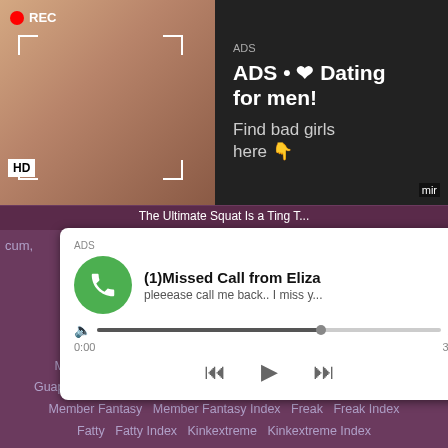[Figure (screenshot): Video thumbnail with REC indicator, camera viewfinder overlay, HD badge, person taking selfie in mirror]
ADS • ❤ Dating for men! Find bad girls here 👇
[Figure (screenshot): Phone call notification ad card: ADS, (1)Missed Call from Eliza, pleeease call me back.. I miss y..., audio progress bar 0:00 to 3:23, playback controls]
Piercedpussy   Piercedpussy Index   Missionary Porn   Missionary Porn Index   Super Hot   Super Hot Index   Guapa   Guapa Index   Subtitled   Subtitled Index   Porn Xxx   Porn Xxx Index   Member Fantasy   Member Fantasy Index   Freak   Freak Index   Fatty   Fatty Index   Kinkextreme   Kinkextreme Index